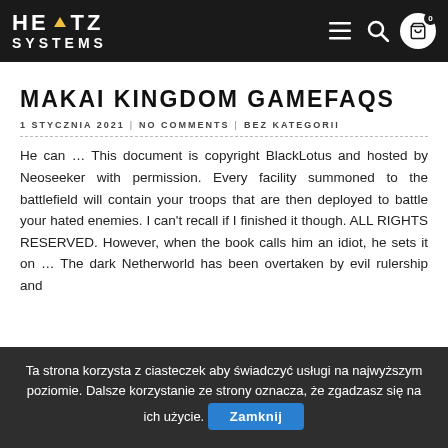HERTZ SYSTEMS
MAKAI KINGDOM GAMEFAQS
1 STYCZNIA 2021 | NO COMMENTS | BEZ KATEGORII
He can … This document is copyright BlackLotus and hosted by Neoseeker with permission. Every facility summoned to the battlefield will contain your troops that are then deployed to battle your hated enemies. I can't recall if I finished it though. ALL RIGHTS RESERVED. However, when the book calls him an idiot, he sets it on … The dark Netherworld has been overtaken by evil rulership and
Ta strona korzysta z ciasteczek aby świadczyć usługi na najwyższym poziomie. Dalsze korzystanie ze strony oznacza, że zgadzasz się na ich użycie. Zamknij